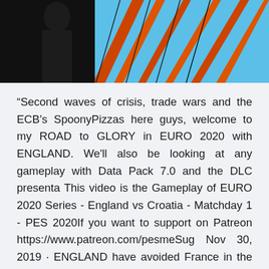[Figure (photo): Partial image showing dark background on left, orange/red diagonal structures and blue sky on right — appears to be a bridge or architectural structure]
“Second waves of crisis, trade wars and the ECB’s SpoonyPizzas here guys, welcome to my ROAD to GLORY in EURO 2020 with ENGLAND. We'll also be looking at any gameplay with Data Pack 7.0 and the DLC presenta This video is the Gameplay of EURO 2020 Series - England vs Croatia - Matchday 1 - PES 2020If you want to support on Patreon https://www.patreon.com/pesmeSug Nov 30, 2019 · ENGLAND have avoided France in the Euro 2020 group stage draw. But they will face Croatia – the team who defeated them in the World Cup 2018 semi-final. Elsewhere, Wales have been drawn in Gr... Nov 20, 2019 · Euro 2020: Potential Opponents for Croatia Revealed